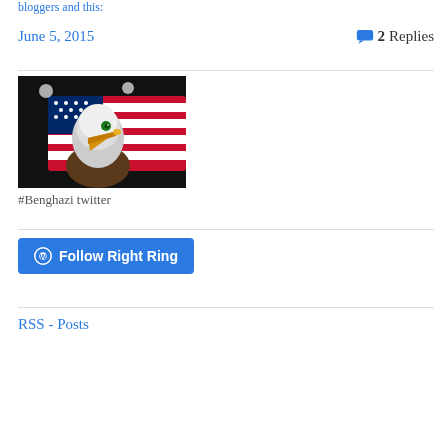bloggers and this:
June 5, 2015
2 Replies
[Figure (photo): A bald eagle head with an American flag background, painted on a dark surface. The eagle has a green eye, yellow-orange beak, white head feathers, and brown chest feathers. The US flag with red and white stripes and blue field with stars is visible behind the eagle.]
#Benghazi twitter
Follow Right Ring
RSS - Posts